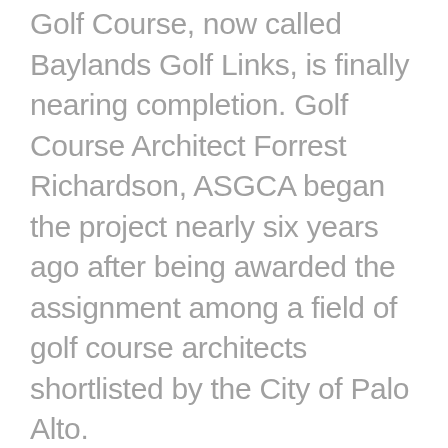Golf Course, now called Baylands Golf Links, is finally nearing completion. Golf Course Architect Forrest Richardson, ASGCA began the project nearly six years ago after being awarded the assignment among a field of golf course architects shortlisted by the City of Palo Alto.
“It began as work to make way for flood control,” notes Richardson. “We quickly focused on how the community could benefit in many more ways, such as returning the